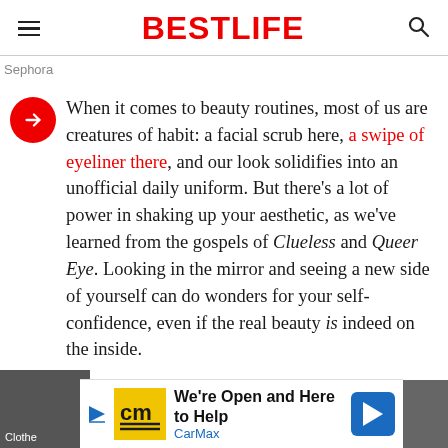BESTLIFE
Sephora
When it comes to beauty routines, most of us are creatures of habit: a facial scrub here, a swipe of eyeliner there, and our look solidifies into an unofficial daily uniform. But there's a lot of power in shaking up your aesthetic, as we've learned from the gospels of Clueless and Queer Eye. Looking in the mirror and seeing a new side of yourself can do wonders for your self-confidence, even if the real beauty is indeed on the inside.
[Figure (other): Advertisement banner: CarMax - We're Open and Here to Help]